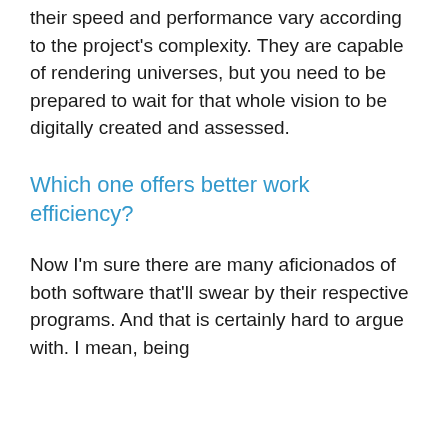their speed and performance vary according to the project's complexity. They are capable of rendering universes, but you need to be prepared to wait for that whole vision to be digitally created and assessed.
Which one offers better work efficiency?
Now I'm sure there are many aficionados of both software that'll swear by their respective programs. And that is certainly hard to argue with. I mean, being